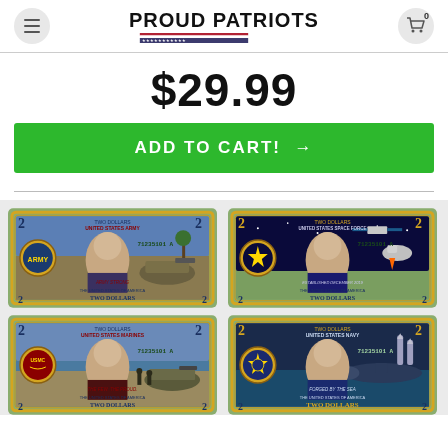PROUD PATRIOTS (logo with stars and red/blue/white bar), cart icon with 0
$29.99
ADD TO CART! →
[Figure (photo): Four colorized $2 US dollar bills featuring military branches: Army Strong, Established December 2019 (Space Force), The Few. The Proud (Marines), Forged by the Sea (Navy). Each bill shows the number 2, serial number 71235101A, TWO DOLLARS text, and military imagery.]